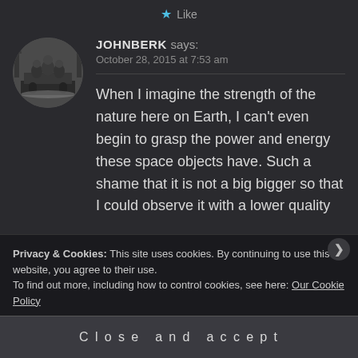Like
JOHNBERK says:
October 28, 2015 at 7:53 am
When I imagine the strength of the nature here on Earth, I can't even begin to grasp the power and energy these space objects have. Such a shame that it is not a big bigger so that I could observe it with a lower quality
Privacy & Cookies: This site uses cookies. By continuing to use this website, you agree to their use.
To find out more, including how to control cookies, see here: Our Cookie Policy
Close and accept